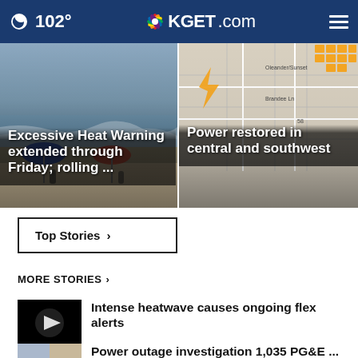102° KGET.com
[Figure (photo): Beach scene with people and umbrellas under hazy sky]
Excessive Heat Warning extended through Friday; rolling ...
[Figure (map): Map showing power outage areas in central and southwest with orange blocks indicating outage zones]
Power restored in central and southwest
Top Stories ›
MORE STORIES ›
[Figure (photo): Video thumbnail with play button - dark background]
Intense heatwave causes ongoing flex alerts
Power outage investigation 1,035 PG&E ...